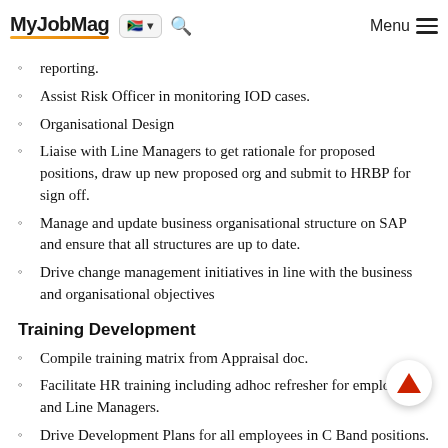MyJobMag [flag] [search] Menu
reporting.
Assist Risk Officer in monitoring IOD cases.
Organisational Design
Liaise with Line Managers to get rationale for proposed positions, draw up new proposed org and submit to HRBP for sign off.
Manage and update business organisational structure on SAP and ensure that all structures are up to date.
Drive change management initiatives in line with the business and organisational objectives
Training Development
Compile training matrix from Appraisal doc.
Facilitate HR training including adhoc refresher for employees and Line Managers.
Drive Development Plans for all employees in C Band positions.